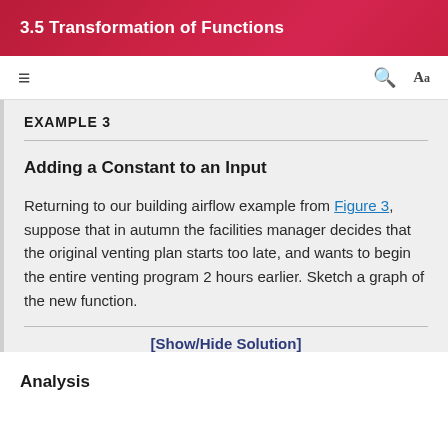3.5 Transformation of Functions
EXAMPLE 3
Adding a Constant to an Input
Returning to our building airflow example from Figure 3, suppose that in autumn the facilities manager decides that the original venting plan starts too late, and wants to begin the entire venting program 2 hours earlier. Sketch a graph of the new function.
[Show/Hide Solution]
Analysis